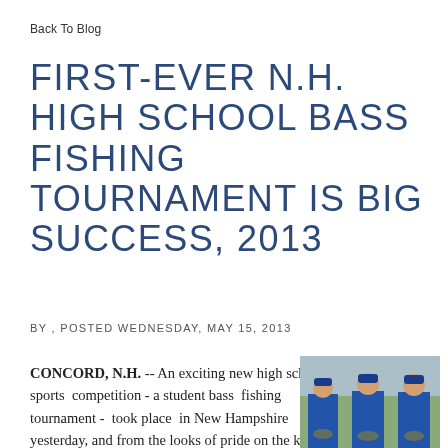Back To Blog
FIRST-EVER N.H. HIGH SCHOOL BASS FISHING TOURNAMENT IS BIG SUCCESS, 2013
BY , POSTED WEDNESDAY, MAY 15, 2013
CONCORD, N.H. -- An exciting new high school sports  competition - a student bass  fishing tournament -  took place  in New Hampshire yesterday, and from the looks of pride on the kids'
[Figure (photo): Three students in blue jerseys holding fish, standing outdoors]